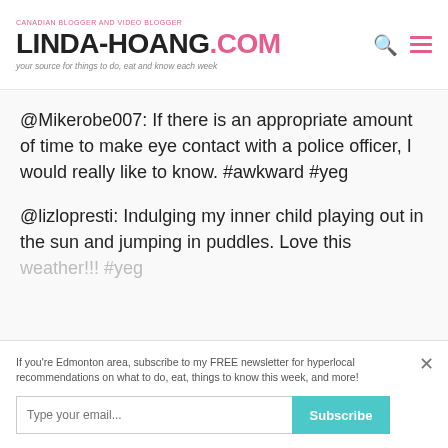CANADIAN BLOGGER AND VIDEO BLOGGER | LINDA-HOANG.COM | your source for things to do, eat and know each week
@Mikerobe007: If there is an appropriate amount of time to make eye contact with a police officer, I would really like to know. #awkward #yeg
@lizlopresti: Indulging my inner child playing out in the sun and jumping in puddles. Love this weather!!! #yeg
If you're Edmonton area, subscribe to my FREE newsletter for hyperlocal recommendations on what to do, eat, things to know this week, and more!